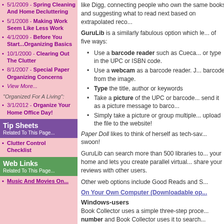5/1/2009 - Spring Cleaning And Home Decluttering
5/1/2008 - Making Work Seem Like Less Work
4/1/2009 - Before You Start...Organizing Basics
10/1/2000 - Clearing Out The Clutter
8/1/2007 - Special Paper Organizing Concerns
View More...
"Organized For A Living":
3/1/2012 - Organize Your Home Office Day!
Tip Sheets
Related To This Page...
Clutter Control Checklist
Web Links
Related To This Page...
Music And Movies On...
like Digg, connecting people who own the same books and suggesting what to read next based on extrapolated reco...
GuruLib is a similarly fabulous option which lets you add books in one of five ways:
Use a barcode reader such as Cueca... or type in the UPC or ISBN code.
Use a webcam as a barcode reader. J... barcode from the image.
Type the title, author or keywords
Take a picture of the UPC or barcode... send it as a picture message to barco...
Simply take a picture or group multiple... upload the file to the website!
Paper Doll likes to think of herself as tech-sav... swoon!
GuruLib can search more than 500 libraries to... your home and lets you create parallel virtual... share your reviews with other users.
Other web options include Good Reads and S...
On Your Own Computer (Downloadable op...
Windows-users
Book Collector uses a simple three-step proce... number and Book Collector uses it to search... ...display by category, format, or by... Select a...